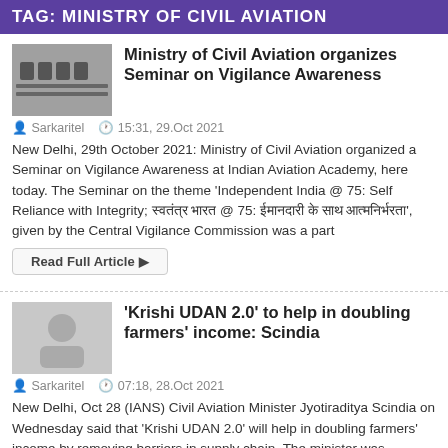TAG: MINISTRY OF CIVIL AVIATION
[Figure (photo): Thumbnail photo of a seminar event with people seated at a table]
Ministry of Civil Aviation organizes Seminar on Vigilance Awareness
Sarkaritel   15:31, 29.Oct 2021
New Delhi, 29th October 2021: Ministry of Civil Aviation organized a Seminar on Vigilance Awareness at Indian Aviation Academy, here today. The Seminar on the theme 'Independent India @ 75: Self Reliance with Integrity; स्वतंत्र भारत @ 75: ईमानदारी के साथ आत्मनिर्भरता', given by the Central Vigilance Commission was a part
Read Full Article ▶
[Figure (photo): Thumbnail photo of a man in white clothes, likely Jyotiraditya Scindia]
'Krishi UDAN 2.0' to help in doubling farmers' income: Scindia
Sarkaritel   07:18, 28.Oct 2021
New Delhi, Oct 28 (IANS) Civil Aviation Minister Jyotiraditya Scindia on Wednesday said that 'Krishi UDAN 2.0' will help in doubling farmers' income by removing barriers in supply chain. The minister was speaking at an event to release 'Krishi UDAN 2.0'.
Read Full Article ▶